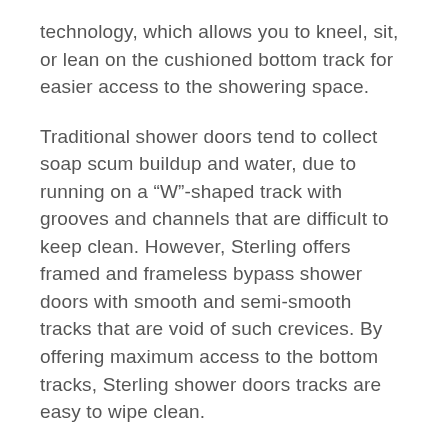technology, which allows you to kneel, sit, or lean on the cushioned bottom track for easier access to the showering space.
Traditional shower doors tend to collect soap scum buildup and water, due to running on a “W”-shaped track with grooves and channels that are difficult to keep clean. However, Sterling offers framed and frameless bypass shower doors with smooth and semi-smooth tracks that are void of such crevices. By offering maximum access to the bottom tracks, Sterling shower doors tracks are easy to wipe clean.
Sterling Offers Environmentally Friendly Features For Your